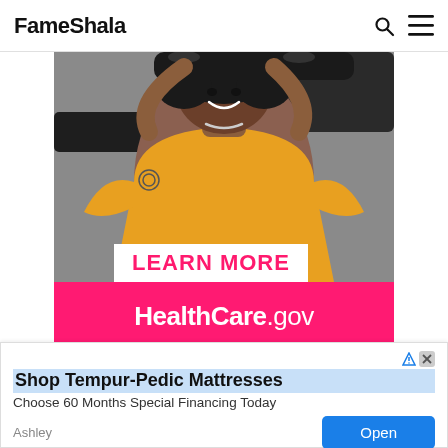FameShala
[Figure (photo): Woman in yellow t-shirt holding a skateboard behind her head, smiling, with a Learn More button overlay and HealthCare.gov text on a pink bar at the bottom of the banner image]
[Figure (infographic): Advertisement: Shop Tempur-Pedic Mattresses. Choose 60 Months Special Financing Today. Ashley. Open button.]